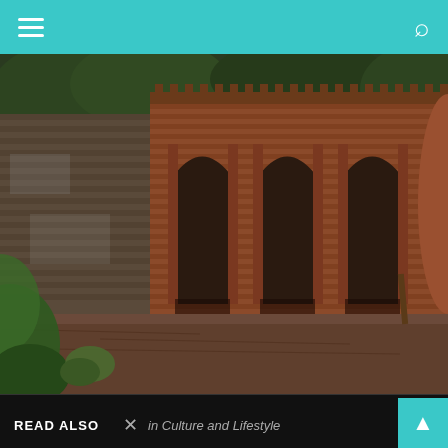Navigation header with hamburger menu and search icon
[Figure (photo): Photograph of an old brick ruin structure with arched niches/alcoves, surrounded by tropical vegetation. The brick walls show weathering and moss. The foreground shows bare earth ground.]
Social media icons: Facebook, Twitter, Instagram, Pinterest, LinkedIn, YouTube
READ ALSO  ×  in Culture and Lifestyle